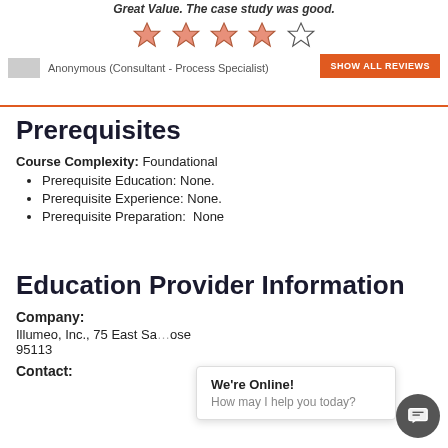Great Value. The case study was good.
[Figure (other): 4 out of 5 star rating — four filled salmon/pink stars and one empty star outline]
Anonymous (Consultant - Process Specialist)
SHOW ALL REVIEWS
Prerequisites
Course Complexity: Foundational
Prerequisite Education: None.
Prerequisite Experience: None.
Prerequisite Preparation:  None
Education Provider Information
Company:
Illumeo, Inc., 75 East Sa... ose, 95113
Contact: